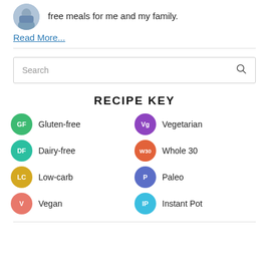free meals for me and my family.
Read More...
Search
RECIPE KEY
GF  Gluten-free
Vg  Vegetarian
DF  Dairy-free
W30  Whole 30
LC  Low-carb
P  Paleo
V  Vegan
IP  Instant Pot